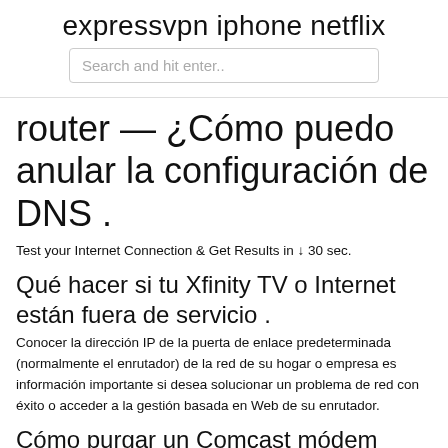expressvpn iphone netflix
Search and hit enter..
router — ¿Cómo puedo anular la configuración de DNS .
Test your Internet Connection & Get Results in ↓ 30 sec.
Qué hacer si tu Xfinity TV o Internet están fuera de servicio .
Conocer la dirección IP de la puerta de enlace predeterminada (normalmente el enrutador) de la red de su hogar o empresa es información importante si desea solucionar un problema de red con éxito o acceder a la gestión basada en Web de su enrutador.
Cómo purgar un Comcast módem